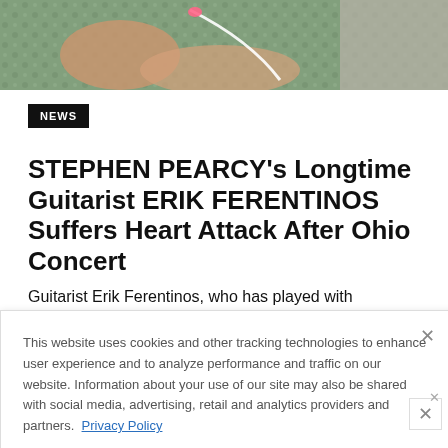[Figure (photo): Partial photo at top of page showing a person, cropped at the bottom]
NEWS
STEPHEN PEARCY's Longtime Guitarist ERIK FERENTINOS Suffers Heart Attack After Ohio Concert
Guitarist Erik Ferentinos, who has played with
This website uses cookies and other tracking technologies to enhance user experience and to analyze performance and traffic on our website. Information about your use of our site may also be shared with social media, advertising, retail and analytics providers and partners. Privacy Policy
[Figure (infographic): Ad banner for At The Gates concert at The Fillmore Silver Spring on August 29]